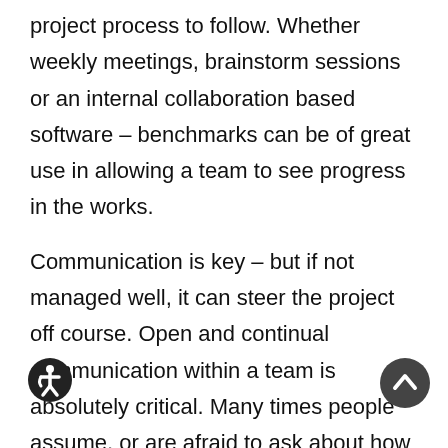project process to follow. Whether weekly meetings, brainstorm sessions or an internal collaboration based software – benchmarks can be of great use in allowing a team to see progress in the works.
Communication is key – but if not managed well, it can steer the project off course. Open and continual communication within a team is absolutely critical. Many times people assume, or are afraid to ask about how a project is coming along – thus leading to extended delivery times and a decreased level of positive culture. Further, being as honest as